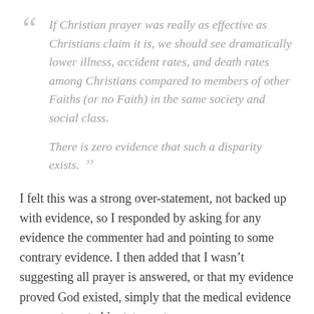“If Christian prayer was really as effective as Christians claim it is, we should see dramatically lower illness, accident rates, and death rates among Christians compared to members of other Faiths (or no Faith) in the same society and social class. There is zero evidence that such a disparity exists.”
I felt this was a strong over-statement, not backed up with evidence, so I responded by asking for any evidence the commenter had and pointing to some contrary evidence. I then added that I wasn’t suggesting all prayer is answered, or that my evidence proved God existed, simply that the medical evidence was contrary to his statement.